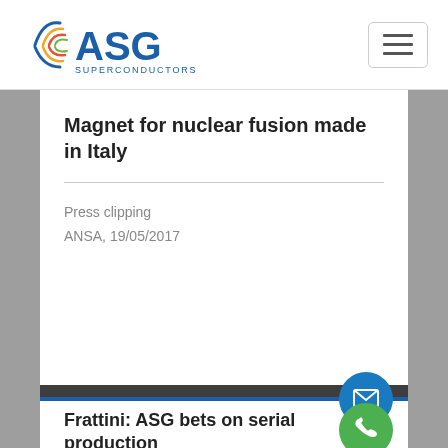[Figure (logo): ASG Superconductors company logo with stylized arc graphic and blue text]
Magnet for nuclear fusion made in Italy
Press clipping
ANSA, 19/05/2017
READ MORE →
Frattini: ASG bets on serial production